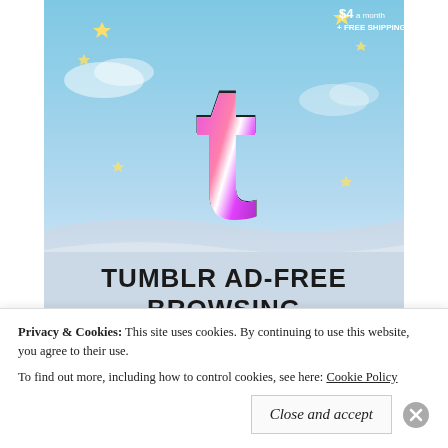[Figure (illustration): Tumblr ad-free browsing advertisement showing Tumblr 't' logo with stars on a blue sky background, price '$4 a month + FREE SHIPPING', text 'TUMBLR AD-FREE BROWSING']
REPORT THIS AD
BEAUTY FAVORITES
[Figure (photo): Photo strip showing ground/earth texture, partially visible]
Privacy & Cookies: This site uses cookies. By continuing to use this website, you agree to their use.
To find out more, including how to control cookies, see here: Cookie Policy
Close and accept